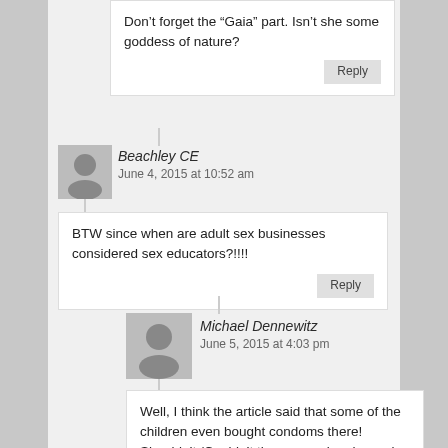Don’t forget the “Gaia” part. Isn’t she some goddess of nature?
Beachley CE
June 4, 2015 at 10:52 am
BTW since when are adult sex businesses considered sex educators?!!!!
Michael Dennewitz
June 5, 2015 at 4:03 pm
Well, I think the article said that some of the children even bought condoms there! Shouldn’t /Couldn’t the owners be charged with contributing??